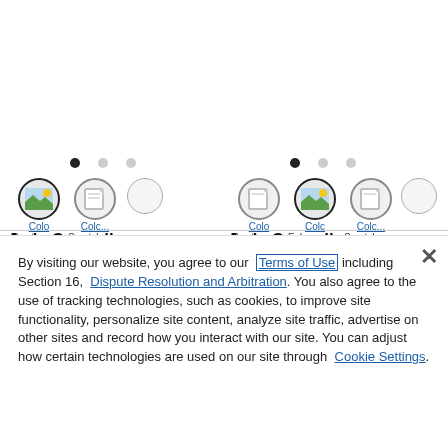[Figure (screenshot): Screenshot of a website showing two columns of color swatch items with icons, dots navigation, and overlapping 'Jade Connally' name text]
By visiting our website, you agree to our Terms of Use including Section 16, Dispute Resolution and Arbitration. You also agree to the use of tracking technologies, such as cookies, to improve site functionality, personalize site content, analyze site traffic, advertise on other sites and record how you interact with our site. You can adjust how certain technologies are used on our site through Cookie Settings.